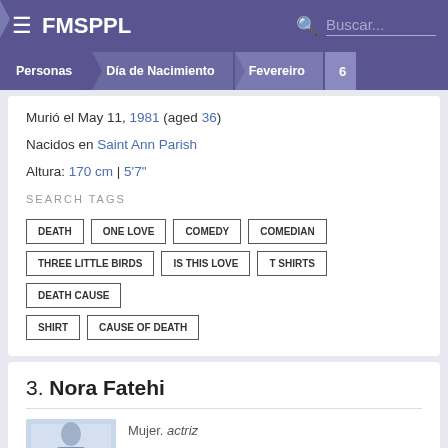FMSPPL
Murió el May 11, 1981 (aged 36)
Nacidos en Saint Ann Parish
Altura: 170 cm | 5'7"
SEARCH TAGS
DEATH
ONE LOVE
COMEDY
COMEDIAN
THREE LITTLE BIRDS
IS THIS LOVE
T SHIRTS
DEATH CAUSE
SHIRT
CAUSE OF DEATH
3. Nora Fatehi
Mujer. actriz